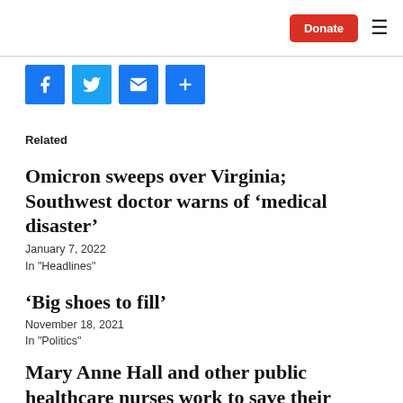Donate ≡
[Figure (infographic): Social sharing icons: Facebook (f), Twitter (bird), Email (envelope), Share (+)]
Related
Omicron sweeps over Virginia; Southwest doctor warns of 'medical disaster'
January 7, 2022
In "Headlines"
'Big shoes to fill'
November 18, 2021
In "Politics"
Mary Anne Hall and other public healthcare nurses work to save their communities